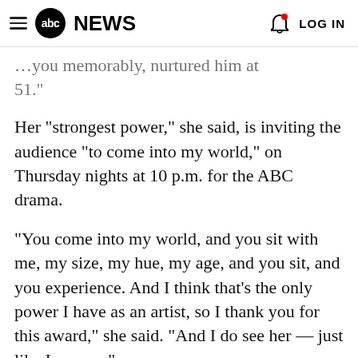abc NEWS  LOG IN
...you memorably, nurtured him at 51."
Her "strongest power," she said, is inviting the audience "to come into my world," on Thursday nights at 10 p.m. for the ABC drama.
"You come into my world, and you sit with me, my size, my hue, my age, and you sit, and you experience. And I think that's the only power I have as an artist, so I thank you for this award," she said. "And I do see her — just like I see me."
Davis also took home an award for best